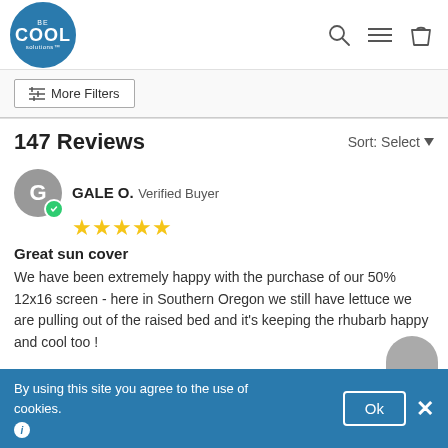[Figure (logo): Be Cool Solutions circular logo in blue]
[Figure (infographic): Search, hamburger menu, and shopping bag icons in the header]
More Filters
147 Reviews
Sort: Select
GALE O. Verified Buyer
[Figure (infographic): 5 gold stars rating]
Great sun cover
We have been extremely happy with the purchase of our 50% 12x16 screen - here in Southern Oregon we still have lettuce we are pulling out of the raised bed and it’s keeping the rhubarb happy and cool too !
By using this site you agree to the use of cookies.